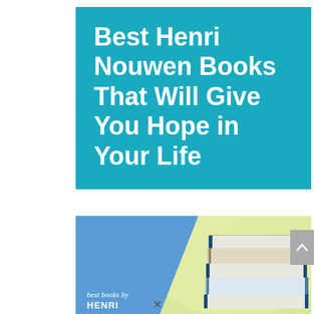Best Henri Nouwen Books That Will Give You Hope in Your Life
[Figure (photo): A stack of books with blue spines on a blurred yellow-green background, with a blue diagonal overlay on the left side. Caption text reads 'best books by' in italic white text.]